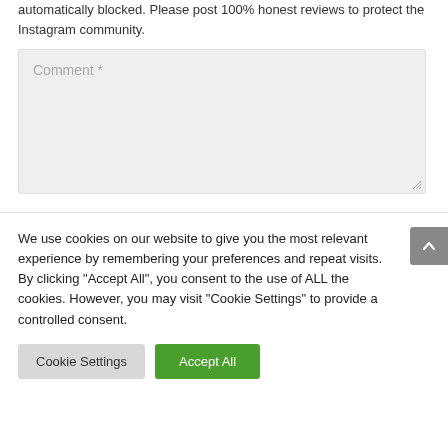automatically blocked. Please post 100% honest reviews to protect the Instagram community.
[Figure (screenshot): A comment text input box with placeholder text 'Comment *' and a resize handle at the bottom right corner. The box has a light grey background.]
We use cookies on our website to give you the most relevant experience by remembering your preferences and repeat visits. By clicking “Accept All”, you consent to the use of ALL the cookies. However, you may visit “Cookie Settings” to provide a controlled consent.
Cookie Settings
Accept All